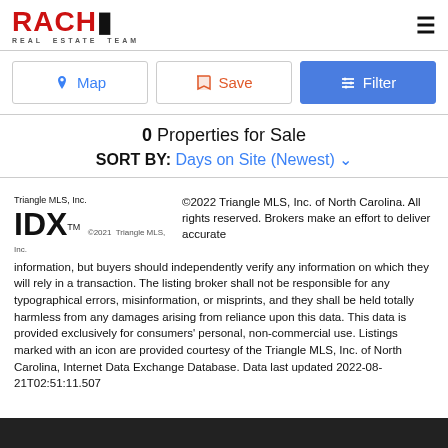[Figure (logo): RACHE Real Estate Team logo with red text and photo]
Map | Save | Filter buttons row
0 Properties for Sale
SORT BY: Days on Site (Newest)
©2022 Triangle MLS, Inc. of North Carolina. All rights reserved. Brokers make an effort to deliver accurate information, but buyers should independently verify any information on which they will rely in a transaction. The listing broker shall not be responsible for any typographical errors, misinformation, or misprints, and they shall be held totally harmless from any damages arising from reliance upon this data. This data is provided exclusively for consumers' personal, non-commercial use. Listings marked with an icon are provided courtesy of the Triangle MLS, Inc. of North Carolina, Internet Data Exchange Database. Data last updated 2022-08-21T02:51:11.507